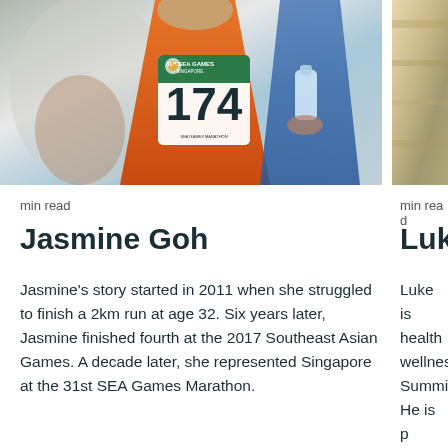[Figure (photo): Photo of Jasmine Goh wearing an orange athletic vest with race bib number 174 and a green SEA Games logo bib, another athlete in blue holding a water bottle visible behind her]
min read
Jasmine Goh
Jasmine's story started in 2011 when she struggled to finish a 2km run at age 32. Six years later, Jasmine finished fourth at the 2017 Southeast Asian Games. A decade later, she represented Singapore at the 31st SEA Games Marathon.
[Figure (photo): Partial photo of Luke (name cut off), showing edge of outdoor scene]
min read
Luke
Luke is... health ... wellness ... Summit... He is p... clients ... conscio...